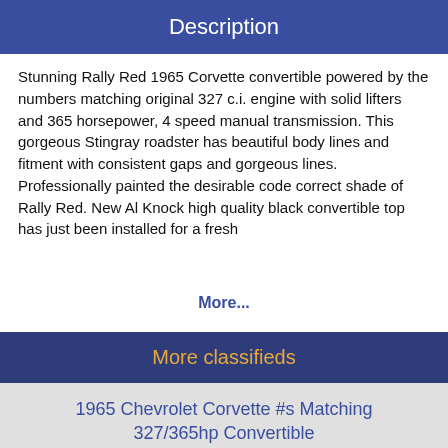Description
Stunning Rally Red 1965 Corvette convertible powered by the numbers matching original 327 c.i. engine with solid lifters and 365 horsepower, 4 speed manual transmission. This gorgeous Stingray roadster has beautiful body lines and fitment with consistent gaps and gorgeous lines. Professionally painted the desirable code correct shade of Rally Red. New Al Knock high quality black convertible top has just been installed for a fresh...
More...
More classifieds
1965 Chevrolet Corvette #s Matching 327/365hp Convertible